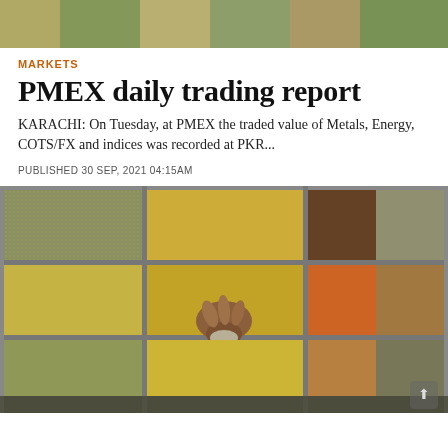[Figure (photo): Top strip of a market photograph showing various grains and spices in display bins]
MARKETS
PMEX daily trading report
KARACHI: On Tuesday, at PMEX the traded value of Metals, Energy, COTS/FX and indices was recorded at PKR...
PUBLISHED 30 SEP, 2021 04:15AM
[Figure (photo): Overhead view of a market display showing multiple bins of colorful spices and grains, with a hand reaching into one of the bins holding a scoop]